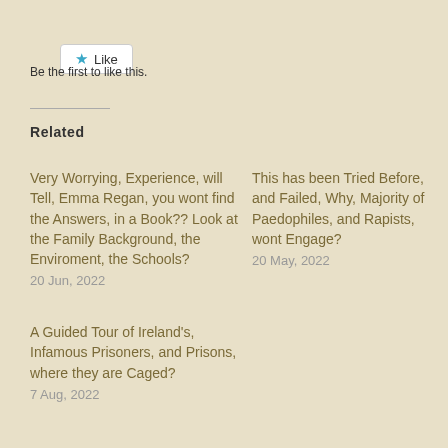Like
Be the first to like this.
Related
Very Worrying, Experience, will Tell, Emma Regan, you wont find the Answers, in a Book?? Look at the Family Background, the Enviroment, the Schools?
20 Jun, 2022
This has been Tried Before, and Failed, Why, Majority of Paedophiles, and Rapists, wont Engage?
20 May, 2022
A Guided Tour of Ireland's, Infamous Prisoners, and Prisons, where they are Caged?
7 Aug, 2022